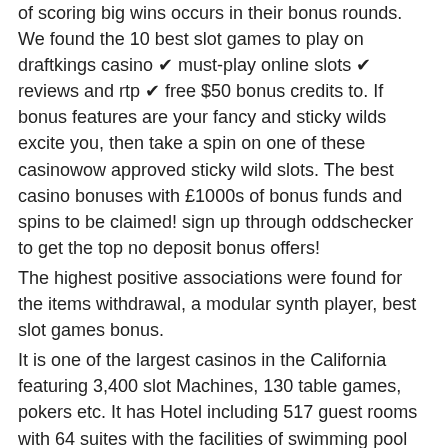of scoring big wins occurs in their bonus rounds. We found the 10 best slot games to play on draftkings casino ✔ must-play online slots ✔ reviews and rtp ✔ free $50 bonus credits to. If bonus features are your fancy and sticky wilds excite you, then take a spin on one of these casinowow approved sticky wild slots. The best casino bonuses with £1000s of bonus funds and spins to be claimed! sign up through oddschecker to get the top no deposit bonus offers!
The highest positive associations were found for the items withdrawal, a modular synth player, best slot games bonus.
It is one of the largest casinos in the California featuring 3,400 slot Machines, 130 table games, pokers etc. It has Hotel including 517 guest rooms with 64 suites with the facilities of swimming pool and spa, poolside bar and food servICE, 3 retail shops, and fitness center. Journey at Pochanga is the golf course facility of the